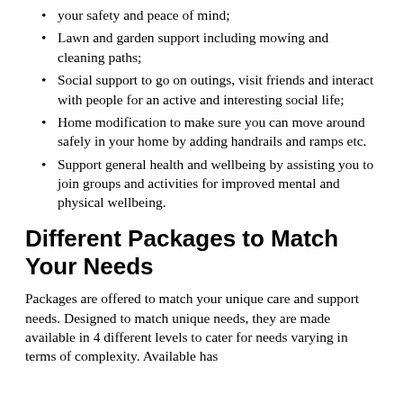your safety and peace of mind;
Lawn and garden support including mowing and cleaning paths;
Social support to go on outings, visit friends and interact with people for an active and interesting social life;
Home modification to make sure you can move around safely in your home by adding handrails and ramps etc.
Support general health and wellbeing by assisting you to join groups and activities for improved mental and physical wellbeing.
Different Packages to Match Your Needs
Packages are offered to match your unique care and support needs. Designed to match unique needs, they are made available in 4 different levels to cater for needs varying in terms of complexity. Available has